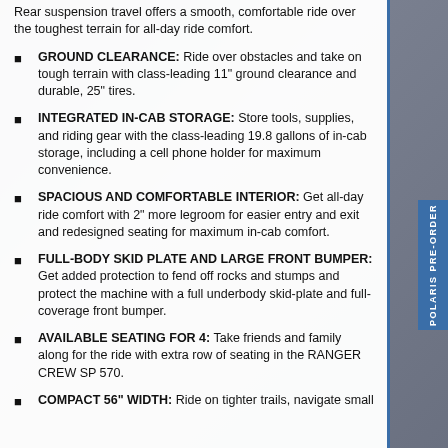Rear suspension travel offers a smooth, comfortable ride over the toughest terrain for all-day ride comfort.
GROUND CLEARANCE: Ride over obstacles and take on tough terrain with class-leading 11" ground clearance and durable, 25" tires.
INTEGRATED IN-CAB STORAGE: Store tools, supplies, and riding gear with the class-leading 19.8 gallons of in-cab storage, including a cell phone holder for maximum convenience.
SPACIOUS AND COMFORTABLE INTERIOR: Get all-day ride comfort with 2" more legroom for easier entry and exit and redesigned seating for maximum in-cab comfort.
FULL-BODY SKID PLATE AND LARGE FRONT BUMPER: Get added protection to fend off rocks and stumps and protect the machine with a full underbody skid-plate and full-coverage front bumper.
AVAILABLE SEATING FOR 4: Take friends and family along for the ride with extra row of seating in the RANGER CREW SP 570.
COMPACT 56" WIDTH: Ride on tighter trails, navigate small